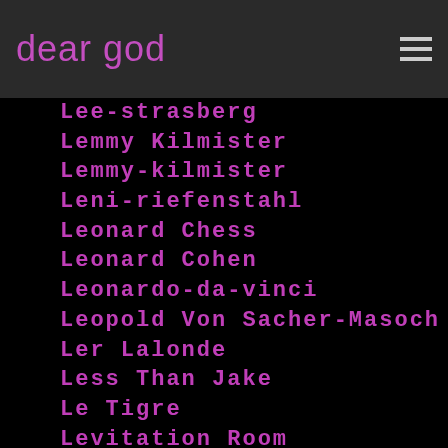dear god
Lee-strasberg
Lemmy Kilmister
Lemmy-kilmister
Leni-riefenstahl
Leonard Chess
Leonard Cohen
Leonardo-da-vinci
Leopold Von Sacher-Masoch
Ler Lalonde
Less Than Jake
Le Tigre
Levitation Room
Levon Helm
Lew Alcindor
LGBTQIA
Liam Finn